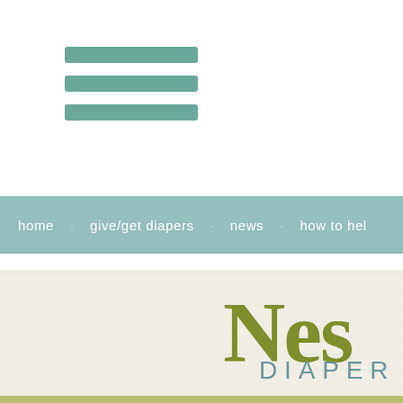[Figure (other): Hamburger menu icon with three horizontal teal/green rounded bars]
home   give/get diapers   news   how to help
[Figure (logo): Nest Diaper Bank logo — large olive-green serif 'Nes' text with 'DIAPER' in teal spaced capitals below, on a linen-textured cream background]